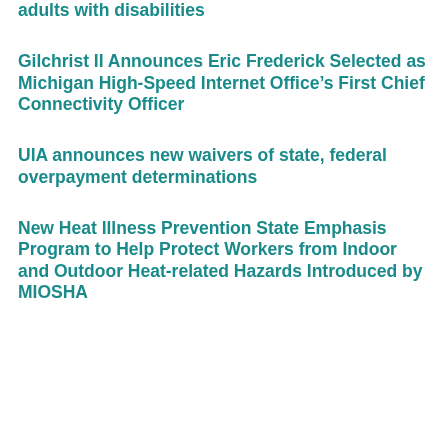adults with disabilities
Gilchrist II Announces Eric Frederick Selected as Michigan High-Speed Internet Office’s First Chief Connectivity Officer
UIA announces new waivers of state, federal overpayment determinations
New Heat Illness Prevention State Emphasis Program to Help Protect Workers from Indoor and Outdoor Heat-related Hazards Introduced by MIOSHA